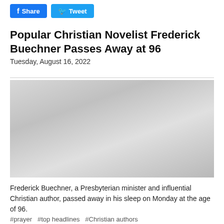[Figure (other): Social sharing buttons: blue Facebook Share button and light blue Twitter Tweet button]
Popular Christian Novelist Frederick Buechner Passes Away at 96
Tuesday, August 16, 2022
[Figure (photo): Faded/watermarked photograph placeholder image with gray tones]
Frederick Buechner, a Presbyterian minister and influential Christian author, passed away in his sleep on Monday at the age of 96.
#prayer  #top headlines  #Christian authors